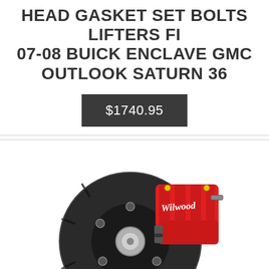HEAD GASKET SET BOLTS LIFTERS FIT 07-08 BUICK ENCLAVE GMC OUTLOOK SATURN 36
$1740.95
[Figure (photo): Photo of a Wilwood brand brake rotor and red caliper assembly, showing a black slotted disc rotor with a red multi-piston caliper with Wilwood branding in script lettering.]